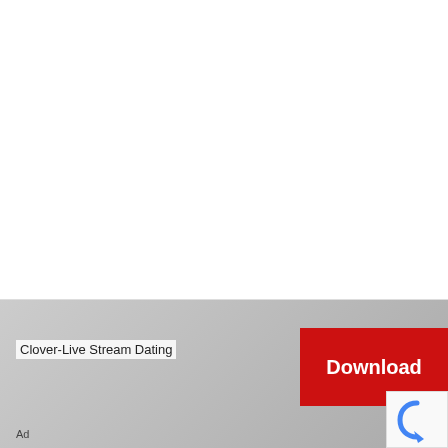Model 3, Model S, Model X, Model Y
Leave a comment
[Figure (other): Advertisement banner for Clover-Live Stream Dating app with a red Download button and reCAPTCHA badge]